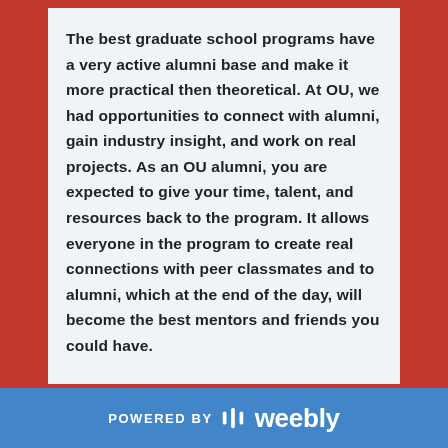The best graduate school programs have a very active alumni base and make it more practical then theoretical. At OU, we had opportunities to connect with alumni, gain industry insight, and work on real projects. As an OU alumni, you are expected to give your time, talent, and resources back to the program. It allows everyone in the program to create real connections with peer classmates and to alumni, which at the end of the day, will become the best mentors and friends you could have.

If anyone would like to connect, I would encourage you to reach out to me
POWERED BY weebly